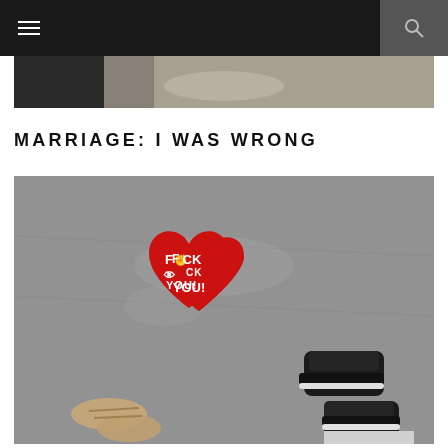[Figure (photo): Top image strip partially visible — appears to be feet/shoes on pavement, cropped by navigation bar]
MARRIAGE: I WAS WRONG
[Figure (photo): Overhead photo of two people standing over a red heart-shaped graffiti on concrete pavement that reads 'F*CK YOU!' with icon symbols. One person wears tan sandals, the other wears black sneakers/shoes.]